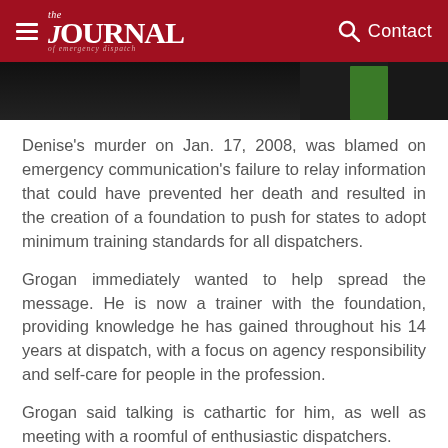the JOURNAL of emergency dispatch | Contact
[Figure (photo): Partial photo showing dark background with green element visible on right side]
Denise’s murder on Jan. 17, 2008, was blamed on emergency communication’s failure to relay information that could have prevented her death and resulted in the creation of a foundation to push for states to adopt minimum training standards for all dispatchers.
Grogan immediately wanted to help spread the message. He is now a trainer with the foundation, providing knowledge he has gained throughout his 14 years at dispatch, with a focus on agency responsibility and self-care for people in the profession.
Grogan said talking is cathartic for him, as well as meeting with a roomful of enthusiastic dispatchers.